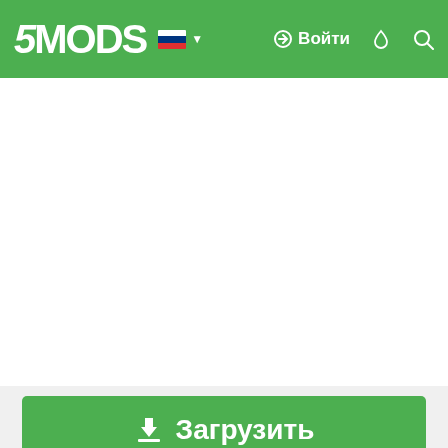5MODS — Войти
[Figure (screenshot): White advertisement area below navigation bar]
⬇ Загрузить
< Поделиться
SkylineGTRFreak
[Figure (photo): User avatar thumbnail showing a stylized jet aircraft on blue background with text SKYLINEGTRFREAK]
YouTube 31K
Пожертвование с PayPal